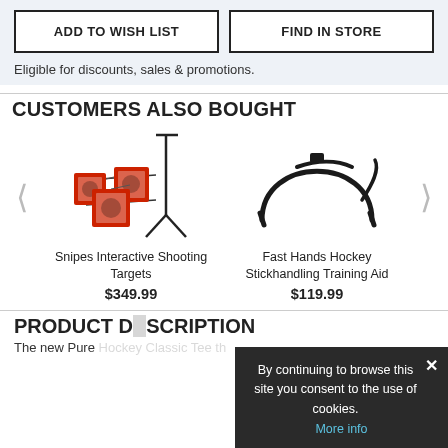ADD TO WISH LIST
FIND IN STORE
Eligible for discounts, sales & promotions.
CUSTOMERS ALSO BOUGHT
[Figure (photo): Snipes Interactive Shooting Targets - red square targets on a metal stand]
Snipes Interactive Shooting Targets
$349.99
[Figure (photo): Fast Hands Hockey Stickhandling Training Aid - black curved frame/bar]
Fast Hands Hockey Stickhandling Training Aid
$119.99
PRODUCT DESCRIPTION
The new Pure Hockey Classic Tee 2.0 is here! Our Classic Tee th
By continuing to browse this site you consent to the use of cookies. More info